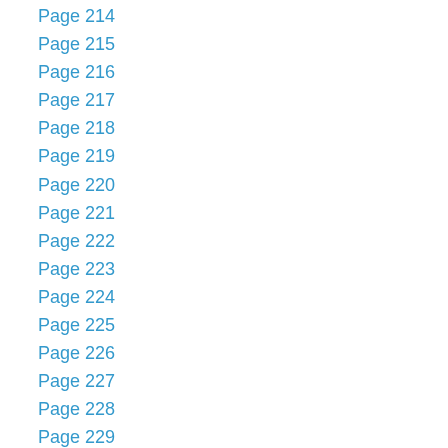Page 214
Page 215
Page 216
Page 217
Page 218
Page 219
Page 220
Page 221
Page 222
Page 223
Page 224
Page 225
Page 226
Page 227
Page 228
Page 229
Page 230
Page 231
Page 232
Page 233